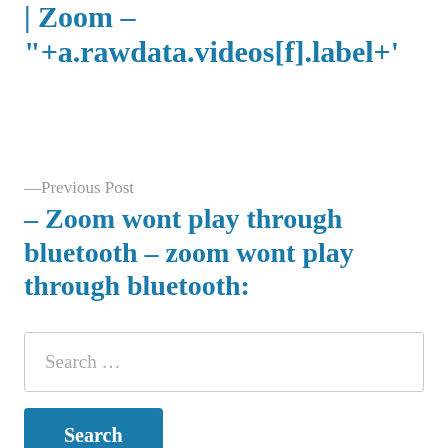| Zoom – "+a.rawdata.videos[f].label+'
—Previous Post
– Zoom wont play through bluetooth – zoom wont play through bluetooth:
Search …
Search